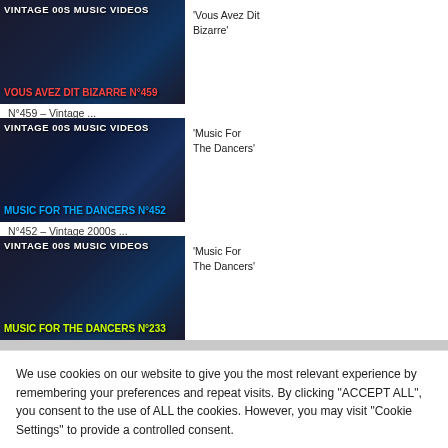[Figure (screenshot): Thumbnail for video: VINTAGE 00S MUSIC VIDEOS - Vous Avez Dit Bizarre N°459]
'Vous Avez Dit Bizarre'
N°459 – Vintage ...
[Figure (screenshot): Thumbnail for video: VINTAGE 00S MUSIC VIDEOS - Music For The Dancers N°452]
'Music For The Dancers'
N°452 – Vintage 2000s ...
[Figure (screenshot): Thumbnail for video: VINTAGE 00S MUSIC VIDEOS - Music For The Dancers N°233]
'Music For The Dancers'
We use cookies on our website to give you the most relevant experience by remembering your preferences and repeat visits. By clicking "ACCEPT ALL", you consent to the use of ALL the cookies. However, you may visit "Cookie Settings" to provide a controlled consent.
Cookie Settings   REJECT ALL   ACCEPT ALL